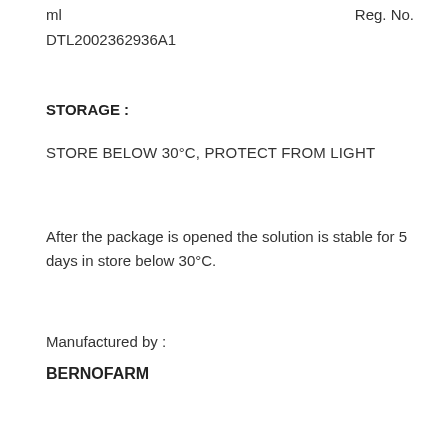ml    Reg. No.
DTL2002362936A1
STORAGE :
STORE BELOW 30°C, PROTECT FROM LIGHT
After the package is opened the solution is stable for 5 days in store below 30°C.
Manufactured by :
BERNOFARM